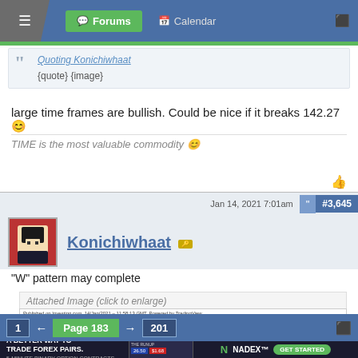Forums | Calendar
Quoting Konichiwhaat
{quote} {image}
large time frames are bullish. Could be nice if it breaks 142.27 😊
TIME is the most valuable commodity 😊
Jan 14, 2021 7:01am   #3,645
Konichiwhaat
"W" pattern may complete
Attached Image (click to enlarge)
[Figure (screenshot): TradingView chart of GBPJPY, 15 min, published on Investing.com, 14/Jan/2021 - 11:58:13 GMT]
1 ← Page 183 → 201